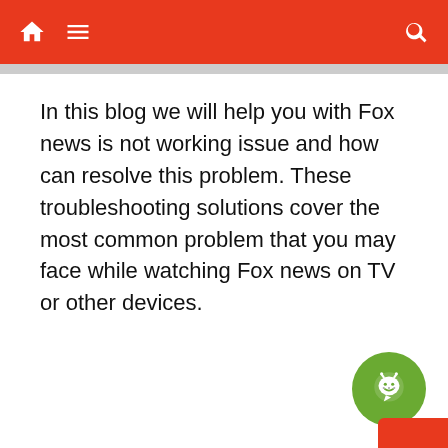Navigation bar with home, menu, and search icons
In this blog we will help you with Fox news is not working issue and how can resolve this problem. These troubleshooting solutions cover the most common problem that you may face while watching Fox news on TV or other devices.